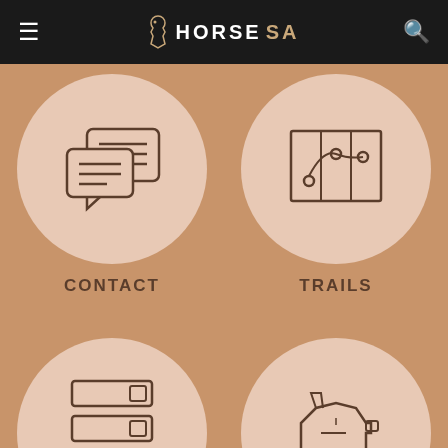HORSE SA
[Figure (illustration): Navigation menu with chat/contact icon inside a circular background]
CONTACT
[Figure (illustration): Navigation menu with map/trails icon inside a circular background]
TRAILS
[Figure (illustration): Navigation menu with checklist/list icon inside a circular background, partially visible]
[Figure (illustration): Navigation menu with horse/piggy bank icon inside a circular background, partially visible]